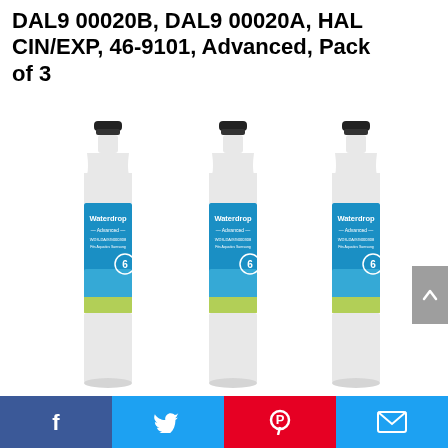DAL9 00020B, DAL9 00020A, HALCIN/EXP, 46-9101, Advanced, Pack of 3
[Figure (photo): Three Waterdrop Advanced refrigerator water filters (white and blue label) standing side by side]
Facebook | Twitter | Pinterest | Email social sharing bar